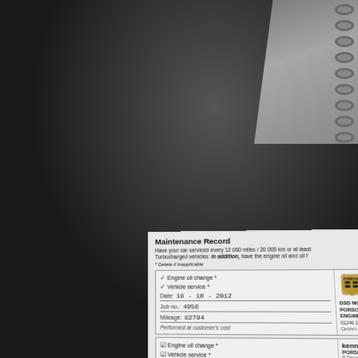[Figure (photo): Photograph of a Porsche vehicle maintenance record booklet lying on a dark carpeted surface, with a spiral-bound notebook visible in the top-right corner. The maintenance record shows two service entries with checkboxes for engine oil change and vehicle service, handwritten dates, job numbers, mileage, and dealer stamps from DSD Motorwerks Porsche Engineering and Kennydunn Porsche Specialists.]
Maintenance Record
Have your car serviced every 12 000 miles / 20 000 km or at least Turbocharged vehicles: in addition, have the engine oil and oil f * Delete if inapplicable
| ✓ Engine oil change * | ✓ Vehicle service * | Date: 18-10-2012 | Job no.: 4956 | Mileage: 82794 | Performed at customer's cost | DSD MOTORWERKS PORSCHE ENGINEERING 01246 237091 07774 65441 Centre's stamp |
| ☑ Engine oil change * | ☑ Vehicle service * | Date: 3/11/2015 | Job no.: | kennydunn PORSCHE Specialists 5 Devon Place Edinburgh EH12 5L... |
DSD MOTORWERKS PORSCHE ENGINEERING 01246 237091 07774 65441 Centre's stamp
kennydunn PORSCHE Specialists 5 Devon Place Edinburgh EH12 5L